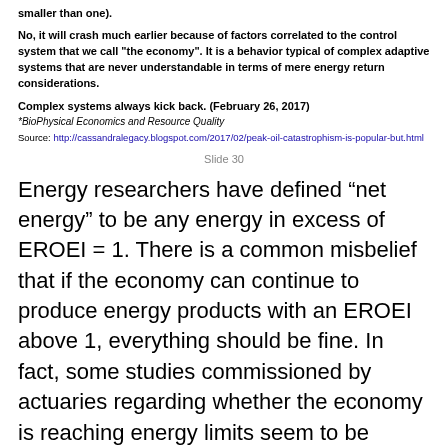smaller than one).
No, it will crash much earlier because of factors correlated to the control system that we call "the economy". It is a behavior typical of complex adaptive systems that are never understandable in terms of mere energy return considerations.
Complex systems always kick back.  (February 26, 2017)
*BioPhysical Economics and Resource Quality
Source: http://cassandralegacy.blogspot.com/2017/02/peak-oil-catastrophism-is-popular-but.html
Slide 30
Energy researchers have defined “net energy” to be any energy in excess of EROEI = 1. There is a common misbelief that if the economy can continue to produce energy products with an EROEI above 1, everything should be fine. In fact, some studies commissioned by actuaries regarding whether the economy is reaching energy limits seem to be based on an assumption that producing energy products